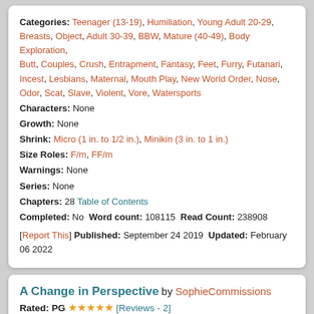Categories: Teenager (13-19), Humiliation, Young Adult 20-29, Breasts, Object, Adult 30-39, BBW, Mature (40-49), Body Exploration, Butt, Couples, Crush, Entrapment, Fantasy, Feet, Furry, Futanari, Incest, Lesbians, Maternal, Mouth Play, New World Order, Nose, Odor, Scat, Slave, Violent, Vore, Watersports Characters: None Growth: None Shrink: Micro (1 in. to 1/2 in.), Minikin (3 in. to 1 in.) Size Roles: F/m, FF/m Warnings: None Series: None Chapters: 28 Table of Contents Completed: No Word count: 108115 Read Count: 238908 [Report This] Published: September 24 2019 Updated: February 06 2022
A Change in Perspective by SophieCommissions
Rated: PG ★★★★★ [Reviews - 2]
Summary:
Jacob is shrunk down on a train by a 19 year old blonde girl who he had